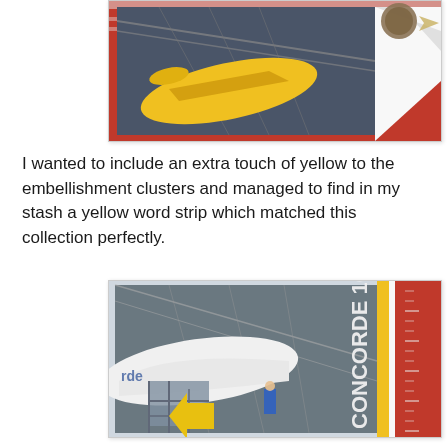[Figure (photo): Photo of yellow aircraft on display inside a museum hangar, shown as a scrapbook page with decorative red and white patterned paper border]
I wanted to include an extra touch of yellow to the embellishment clusters and managed to find in my stash a yellow word strip which matched this collection perfectly.
[Figure (photo): Photo of Concorde 101 aircraft inside a hangar, shown as a scrapbook layout with red striped border and yellow arrow embellishment]
White foam mini alpha stickers from Pink Paislee were